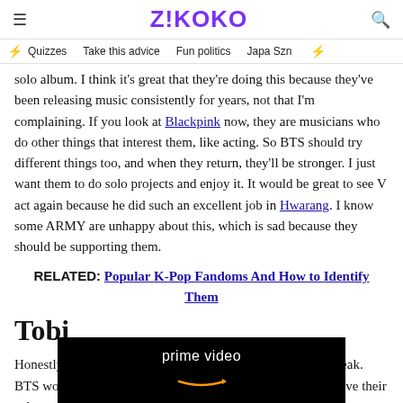ZIKOKO
Quizzes   Take this advice   Fun politics   Japa Szn
solo album. I think it's great that they're doing this because they've been releasing music consistently for years, not that I'm complaining. If you look at Blackpink now, they are musicians who do other things that interest them, like acting. So BTS should try different things too, and when they return, they'll be stronger. I just want them to do solo projects and enjoy it. It would be great to see V act again because he did such an excellent job in Hwarang. I know some ARMY are unhappy about this, which is sad because they should be supporting them.
RELATED: Popular K-Pop Fandoms And How to Identify Them
Tobi
Honestly, I'm glad it's not an actual hiatus and more like a break. BTS won't release music as a group for a while, but they'll have their solo … their variety sh… es me
[Figure (other): Amazon Prime Video advertisement overlay at the bottom of the page, showing 'prime video' text and Amazon smile logo on black background]